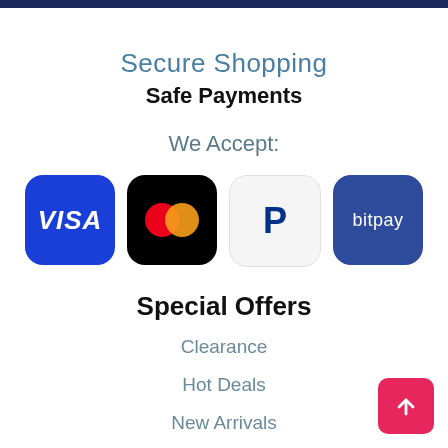Secure Shopping
Safe Payments
We Accept:
[Figure (logo): Payment method logos: Visa, Mastercard, PayPal, BitPay]
Special Offers
Clearance
Hot Deals
New Arrivals
All Sale Items
Best Sellers
Weekly Specials
Factory Reconditioned